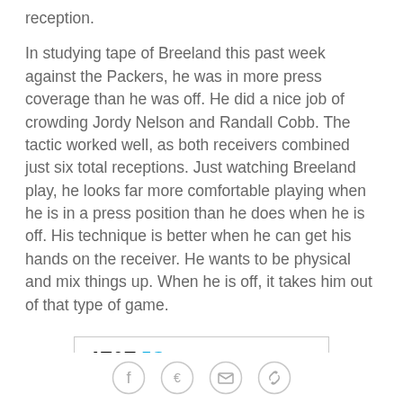reception.
In studying tape of Breeland this past week against the Packers, he was in more press coverage than he was off. He did a nice job of crowding Jordy Nelson and Randall Cobb. The tactic worked well, as both receivers combined just six total receptions. Just watching Breeland play, he looks far more comfortable playing when he is in a press position than he does when he is off. His technique is better when he can get his hands on the receiver. He wants to be physical and mix things up. When he is off, it takes him out of that type of game.
[Figure (infographic): AT&T 5G advertisement showing 'Fast. Reliable.' text in blue with border]
Social sharing icons: Facebook, Twitter, Email, Link